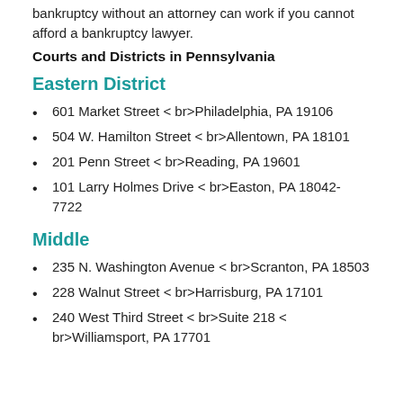bankruptcy without an attorney can work if you cannot afford a bankruptcy lawyer.
Courts and Districts in Pennsylvania
Eastern District
601 Market Street < br>Philadelphia, PA 19106
504 W. Hamilton Street < br>Allentown, PA 18101
201 Penn Street < br>Reading, PA 19601
101 Larry Holmes Drive < br>Easton, PA 18042-7722
Middle
235 N. Washington Avenue < br>Scranton, PA 18503
228 Walnut Street < br>Harrisburg, PA 17101
240 West Third Street < br>Suite 218 < br>Williamsport, PA 17701